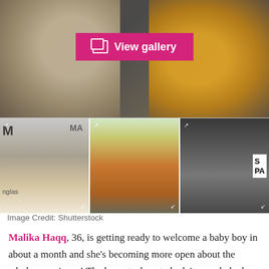[Figure (photo): Hero photo of two people — one in a white studded jacket on the left and one in a yellow jersey on the right, with a 'View gallery' button overlaid in pink.]
[Figure (photo): Thumbnail strip of three photos: 1) woman with long straight ombre hair at an event, 2) pregnant woman in orange dress holding belly, 3) couple walking outside near a sign.]
Image Credit: Shutterstock
Malika Haqq, 36, is getting ready to welcome a baby boy in about a month and she's becoming more open about the whole experience! The brunette beauty hadn't revealed who the father of her child was since announcing her pregnancy in Sept. 2019, but on Feb. 8